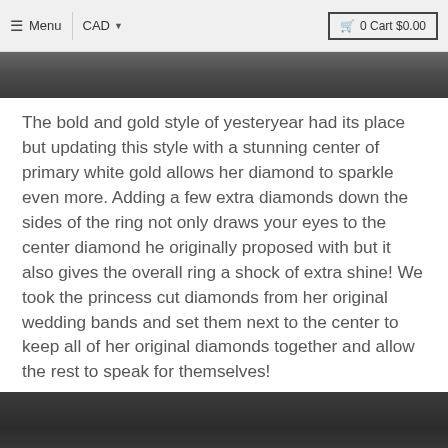≡ Menu  CAD ▼  🛒 0 Cart $0.00
[Figure (photo): Dark stone or metal surface photo, top portion visible]
The bold and gold style of yesteryear had its place but updating this style with a stunning center of primary white gold allows her diamond to sparkle even more. Adding a few extra diamonds down the sides of the ring not only draws your eyes to the center diamond he originally proposed with but it also gives the overall ring a shock of extra shine! We took the princess cut diamonds from her original wedding bands and set them next to the center to keep all of her original diamonds together and allow the rest to speak for themselves!
[Figure (photo): Dark jewelry or ring photo, bottom portion visible]